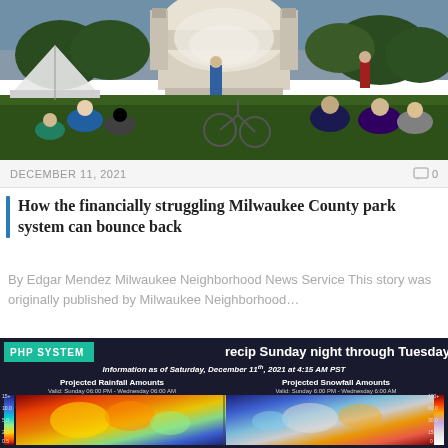[Figure (photo): Outdoor concert scene at a bandshell/amphitheater. People sitting on lawn chairs and grass in the foreground, bicycles on the ground, a white bandshell structure in the background with performers on stage, trees visible on both sides, taken at dusk.]
DECEMBER 11, 2021
0
How the financially struggling Milwaukee County park system can bounce back
By Edgar Mendez Milwaukee Neighborhood News Service This story was originally published by Milwaukee Neighborhood…
[Figure (map): Weather map showing projected precipitation for Sunday night through Tuesday. Left panel shows Projected Rainfall Amounts, right panel shows Projected Snowfall Amounts. Information as of Saturday, December 11th, 2021 at 4:15 AM PST. Has PHP SYSTEM label tag in top left corner.]